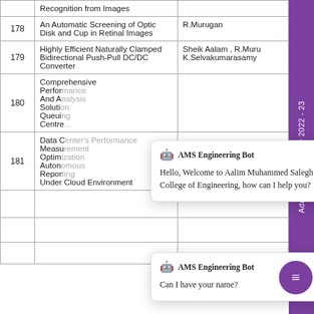| No. | Title | Author(s) |
| --- | --- | --- |
|  | Recognition from Images |  |
| 178 | An Automatic Screening of Optic Disk and Cup in Retinal Images | R.Murugan |
| 179 | Highly Efficient Naturally Clamped Bidirectional Push-Pull DC/DC Converter | Sheik Aalam , R.Muru K.Selvakumarasamy |
| 180 | Comprehensive Performance And Analysis Solution Queuing Centre [truncated] |  |
| 181 | Data Center's Performance Measurement Optimization Autonomous Reporting Under Cloud Environment |  |
AMS Engineering Bot
Hello, Welcome to Aalim Muhammed Salegh College of Engineering, how can I help you?
AMS Engineering Bot
Can I have your name?
[Figure (other): Purple sidebar label reading 'Admissions Enquiry 2022 - 23' rotated vertically on the right edge of the page]